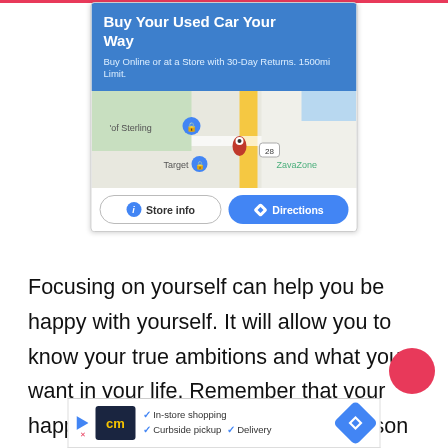[Figure (screenshot): Advertisement card for CarMax 'Buy Your Used Car Your Way' with blue header, map showing Store location near Sterling with Target and ZavaZone visible, and two buttons: 'Store info' and 'Directions']
Focusing on yourself can help you be happy with yourself. It will allow you to know your true ambitions and what you want in your life. Remember that your happiness is not attached to any person rather you have to find your happiness within
[Figure (screenshot): Bottom advertisement banner: cm logo (yellow on dark), checkmarks for In-store shopping, Curbside pickup, Delivery, and a blue directions diamond icon]